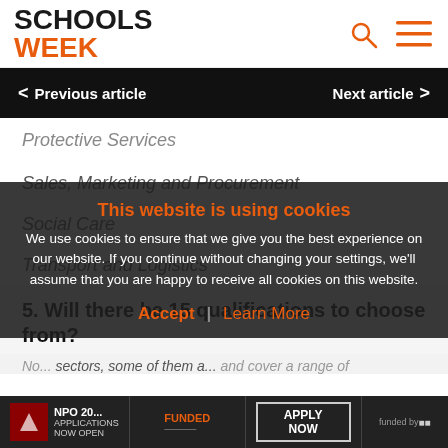[Figure (logo): Schools Week logo with SCHOOLS in black bold and WEEK in orange bold]
< Previous article   Next article >
Protective Services
Sales, Marketing and Procurement
Social Care
Transport and Logistics
5. Will there be 15 qualifications to choose from?
No... sectors, some of them are... and cover a range of
This website is using cookies
We use cookies to ensure that we give you the best experience on our website. If you continue without changing your settings, we'll assume that you are happy to receive all cookies on this website.
Accept | Learn More